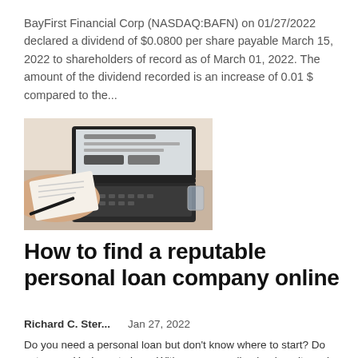BayFirst Financial Corp (NASDAQ:BAFN) on 01/27/2022 declared a dividend of $0.0800 per share payable March 15, 2022 to shareholders of record as of March 01, 2022. The amount of the dividend recorded is an increase of 0.01 $ compared to the...
[Figure (photo): Person holding a document/check while working on a laptop computer at a desk]
How to find a reputable personal loan company online
Richard C. Ster...    Jan 27, 2022
Do you need a personal loan but don't know where to start? Do not worry. You're not alone. With so many online lenders, it can be